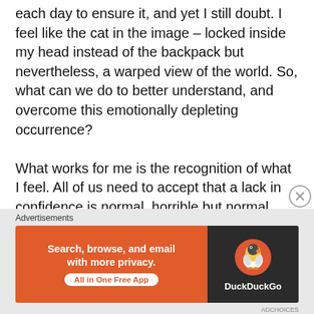each day to ensure it, and yet I still doubt. I feel like the cat in the image – locked inside my head instead of the backpack but nevertheless, a warped view of the world. So, what can we do to better understand, and overcome this emotionally depleting occurrence?

What works for me is the recognition of what I feel. All of us need to accept that a lack in confidence is normal, horrible but normal, annoying but normal. We have a need to get it right, to try for perfect but it is healthier and helpful to let go of perfectionism. What we need to do is a good job and to do a good job we need
[Figure (screenshot): Advertisement banner: DuckDuckGo ad with orange background on left reading 'Search, browse, and email with more privacy. All in One Free App' and dark background on right with DuckDuckGo duck logo and brand name.]